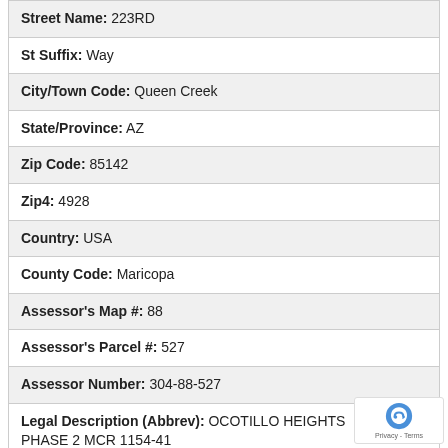| Street Name: | 223RD |
| St Suffix: | Way |
| City/Town Code: | Queen Creek |
| State/Province: | AZ |
| Zip Code: | 85142 |
| Zip4: | 4928 |
| Country: | USA |
| County Code: | Maricopa |
| Assessor's Map #: | 88 |
| Assessor's Parcel #: | 527 |
| Assessor Number: | 304-88-527 |
| Legal Description (Abbrev): | OCOTILLO HEIGHTS PHASE 2 MCR 1154-41 |
| Subdivision: | OCOTILLO HEIGHTS PHASE 2 |